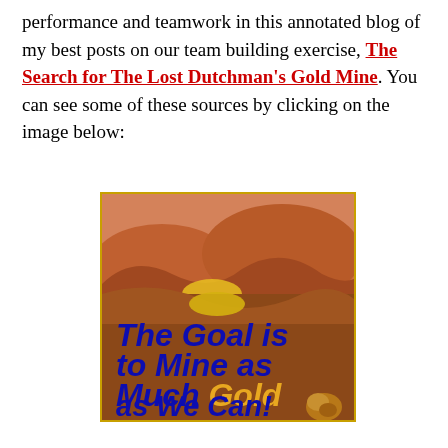performance and teamwork in this annotated blog of my best posts on our team building exercise, The Search for The Lost Dutchman's Gold Mine. You can see some of these sources by clicking on the image below:
[Figure (illustration): Illustrated banner with desert canyon background in shades of orange, tan, and brown. Bold blue italic text reads 'The Goal is to Mine as Much Gold as We Can!' with the word 'Gold' in orange italic. A small gold nugget illustration appears in the bottom right corner.]